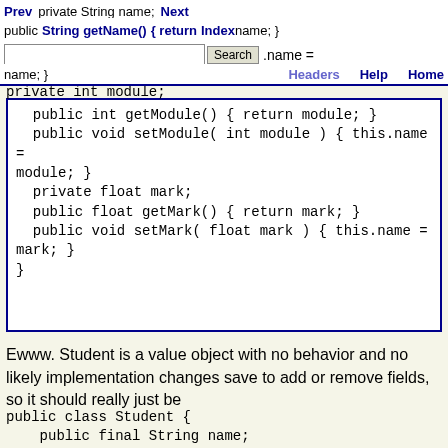Prev  Next  Java Set Expert  Index  Search  Headers  Help  Home
[Figure (screenshot): Navigation bar with Prev, Next, Java Set Expert, Index links and Search box, Headers, Help, Home links]
public int getModule() { return module; }
    public void setModule( int module ) { this.name = module; }
    private float mark;
    public float getMark() { return mark; }
    public void setMark( float mark ) { this.name = mark; }
}
Ewww. Student is a value object with no behavior and no likely implementation changes save to add or remove fields, so it should really just be
public class Student {
    public final String name;
    public int module; // Consider making this an object